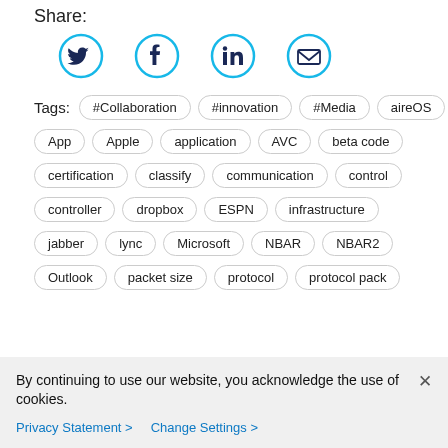Share:
[Figure (illustration): Four social media share icons in cyan/teal circles: Twitter bird, Facebook f, LinkedIn in, Email envelope]
Tags: #Collaboration  #innovation  #Media  aireOS
App  Apple  application  AVC  beta code
certification  classify  communication  control
controller  dropbox  ESPN  infrastructure
jabber  lync  Microsoft  NBAR  NBAR2
Outlook  packet size  protocol  protocol pack
By continuing to use our website, you acknowledge the use of cookies.
Privacy Statement >  Change Settings >